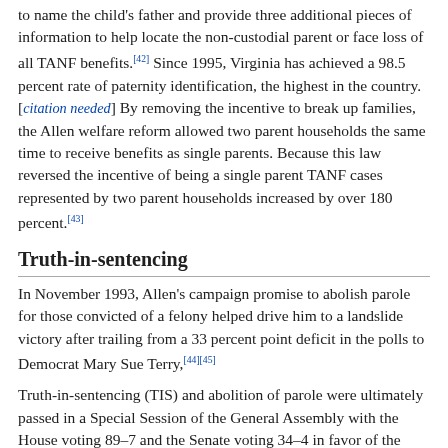to name the child's father and provide three additional pieces of information to help locate the non-custodial parent or face loss of all TANF benefits.[42] Since 1995, Virginia has achieved a 98.5 percent rate of paternity identification, the highest in the country. [citation needed] By removing the incentive to break up families, the Allen welfare reform allowed two parent households the same time to receive benefits as single parents. Because this law reversed the incentive of being a single parent TANF cases represented by two parent households increased by over 180 percent.[43]
Truth-in-sentencing
In November 1993, Allen's campaign promise to abolish parole for those convicted of a felony helped drive him to a landslide victory after trailing from a 33 percent point deficit in the polls to Democrat Mary Sue Terry,[44][45]
Truth-in-sentencing (TIS) and abolition of parole were ultimately passed in a Special Session of the General Assembly with the House voting 89–7 and the Senate voting 34–4 in favor of the measure. On January 1, 1995, Allen's central campaign promise became a reality when TIS and abolition of parole went into effect.[46][47] According to the law, prison sentences increased for offenders without prior convictions for violent crimes by 125...